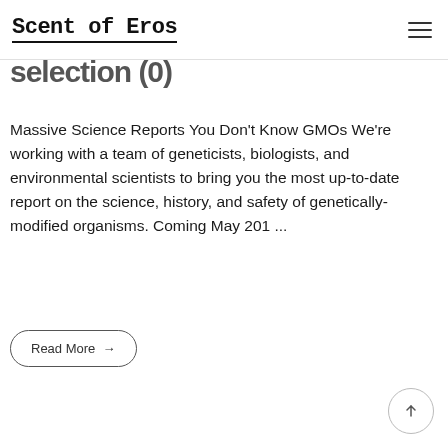Scent of Eros
selection (0)
Massive Science Reports You Don't Know GMOs We're working with a team of geneticists, biologists, and environmental scientists to bring you the most up-to-date report on the science, history, and safety of genetically-modified organisms. Coming May 201 ...
Read More →